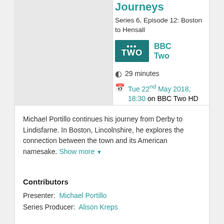Journeys
Series 6, Episode 12: Boston to Hensall
[Figure (logo): BBC Two logo — teal/dark green rectangle with BBC symbol and TWO text in white]
BBC Two
29 minutes
Tue 22nd May 2018, 18:30 on BBC Two HD
Michael Portillo continues his journey from Derby to Lindisfarne. In Boston, Lincolnshire, he explores the connection between the town and its American namesake. Show more
Contributors
Presenter:  Michael Portillo
Series Producer:  Alison Kreps